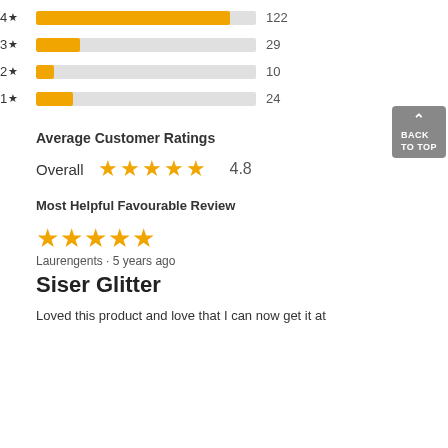[Figure (bar-chart): Star rating distribution]
Average Customer Ratings
Overall ★★★★★ 4.8
Most Helpful Favourable Review
[Figure (other): 5 gold stars rating]
Laurengents · 5 years ago
Siser Glitter
Loved this product and love that I can now get it at